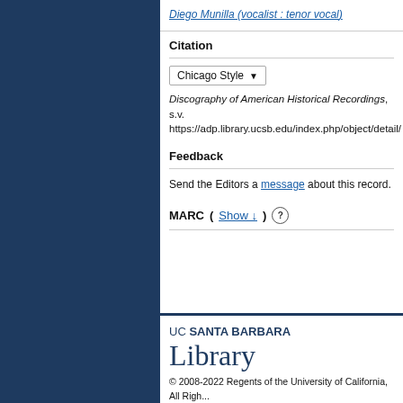Diego Munilla (vocalist : tenor vocal)
Citation
Chicago Style dropdown
Discography of American Historical Recordings, s.v. https://adp.library.ucsb.edu/index.php/object/detail/
Feedback
Send the Editors a message about this record.
MARC (Show ↓) (?)
UC SANTA BARBARA Library © 2008-2022 Regents of the University of California, All Rights Reserved. Home | Contact Us | Terms of Use | Accessibility